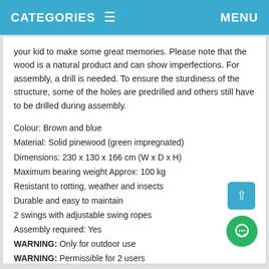CATEGORIES ≡   MENU
your kid to make some great memories. Please note that the wood is a natural product and can show imperfections. For assembly, a drill is needed. To ensure the sturdiness of the structure, some of the holes are predrilled and others still have to be drilled during assembly.
Colour: Brown and blue
Material: Solid pinewood (green impregnated)
Dimensions: 230 x 130 x 166 cm (W x D x H)
Maximum bearing weight Approx: 100 kg
Resistant to rotting, weather and insects
Durable and easy to maintain
2 swings with adjustable swing ropes
Assembly required: Yes
WARNING: Only for outdoor use
WARNING: Permissible for 2 users
WARNING: Suitable for children 3 years and over
WARNING: Maximum per user weight 50 kg